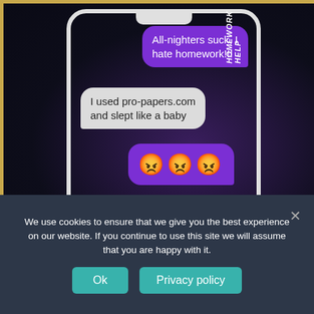[Figure (screenshot): A smartphone frame showing a text message conversation on a dark starry background. Bubbles show: purple right bubble 'All-nighters suck, I hate homework!!!', grey left bubble 'I used pro-papers.com and slept like a baby', purple right bubble with three angry emoji faces, grey left bubble 'I'll send you their 15% discount', and a partial purple bubble at bottom. A 'HOMEWORK HELP' logo appears top right.]
We use cookies to ensure that we give you the best experience on our website. If you continue to use this site we will assume that you are happy with it.